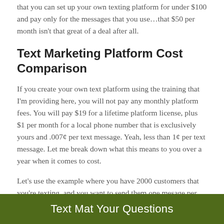that you can set up your own texting platform for under $100 and pay only for the messages that you use…that $50 per month isn't that great of a deal after all.
Text Marketing Platform Cost Comparison
If you create your own text platform using the training that I'm providing here, you will not pay any monthly platform fees. You will pay $19 for a lifetime platform license, plus $1 per month for a local phone number that is exclusively yours and .007¢ per text message. Yeah, less than 1¢ per text message. Let me break down what this means to you over a year when it comes to cost.
Let's use the example where you have 2000 customers that you're texting, and you want to send them one mesage per week.  That would be a total of 8,000 text messages per month.
Text Mat Your Questions